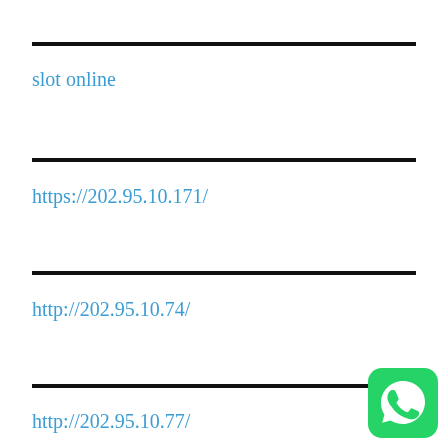slot online
https://202.95.10.171/
http://202.95.10.74/
http://202.95.10.77/
[Figure (logo): WhatsApp logo icon, green rounded square with white phone handset]